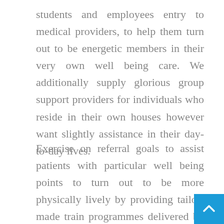students and employees entry to medical providers, to help them turn out to be energetic members in their very own well being care. We additionally supply glorious group support providers for individuals who reside in their own houses however want slightly assistance in their day-to-day lives.
Exercise on referral goals to assist patients with particular well being points to turn out to be more physically lively by providing tailor-made train programmes delivered by trained professionals. Because of this we provide clear step-by-step damage management and return to work services as we stroll with you on highway to restoration. On-site well being